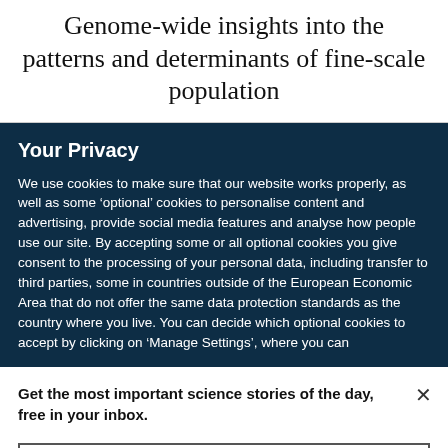Genome-wide insights into the patterns and determinants of fine-scale population
Your Privacy
We use cookies to make sure that our website works properly, as well as some ‘optional’ cookies to personalise content and advertising, provide social media features and analyse how people use our site. By accepting some or all optional cookies you give consent to the processing of your personal data, including transfer to third parties, some in countries outside of the European Economic Area that do not offer the same data protection standards as the country where you live. You can decide which optional cookies to accept by clicking on ‘Manage Settings’, where you can
Get the most important science stories of the day, free in your inbox.
Sign up for Nature Briefing